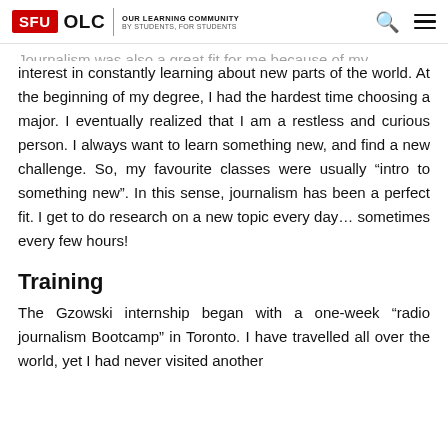SFU OLC | OUR LEARNING COMMUNITY BY STUDENTS, FOR STUDENTS
Journalism was also a great fit for me because of my interest in constantly learning about new parts of the world. At the beginning of my degree, I had the hardest time choosing a major. I eventually realized that I am a restless and curious person. I always want to learn something new, and find a new challenge. So, my favourite classes were usually “intro to something new”. In this sense, journalism has been a perfect fit. I get to do research on a new topic every day… sometimes every few hours!
Training
The Gzowski internship began with a one-week “radio journalism Bootcamp” in Toronto. I have travelled all over the world, yet I had never visited another